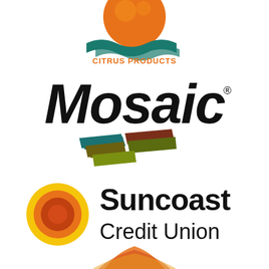[Figure (logo): Pen... er Citrus Products logo — orange sun/citrus half-circle above teal wave, text CITRUS PRODUCTS in orange below]
[Figure (logo): Mosaic® company logo — bold black italic text 'Mosaic' with registered trademark symbol, below is a mosaic of colored parallelogram tiles in teal, dark red/brown, olive, and yellow-green]
[Figure (logo): Suncoast Credit Union logo — circular sun icon with concentric orange/red/yellow rings on left, bold black text 'Suncoast' on top line and 'Credit Union' in regular weight below]
[Figure (logo): Partial logo at bottom — orange/red stylized design, partially cropped]